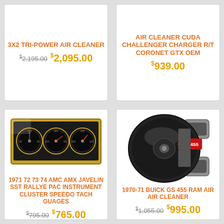3X2 TRI-POWER AIR CLEANER
AIR CLEANER CUDA CHALLENGER CHARGER R/T CORONET GTX OEM
[Figure (photo): AMC AMX Javelin SST Rallye Pac instrument cluster showing three analog gauges on a gold/tan panel]
1971 72 73 74 AMC AMX JAVELIN SST RALLYE PAC INSTRUMENT CLUSTER SPEEDO TACH GUAGES
[Figure (photo): 1970-71 Buick GS 455 Ram Air air cleaner assembly, round black unit with GS 455 red label and gray air intake scoops]
1970-71 BUICK GS 455 RAM AIR AIR CLEANER